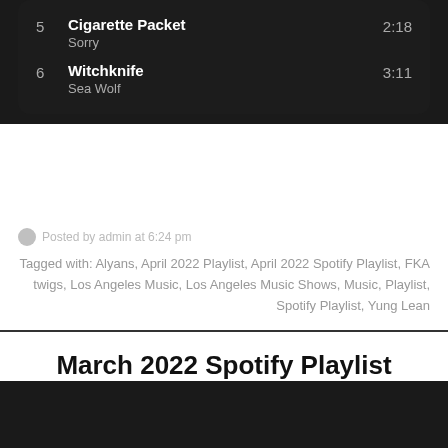5  Cigarette Packet  2:18  Sorry
6  Witchknife  3:11  Sea Wolf
Posted by admin at 6:24 pm
Tagged with: Alyans, April 2022 Playlist, April 2022 Spotify Playlist, FKA twigs, Los Angeles Music, Los Angeles Music Shows, Music, Playlist, Spotify Playlist, Yung Lean
March 2022 Spotify Playlist